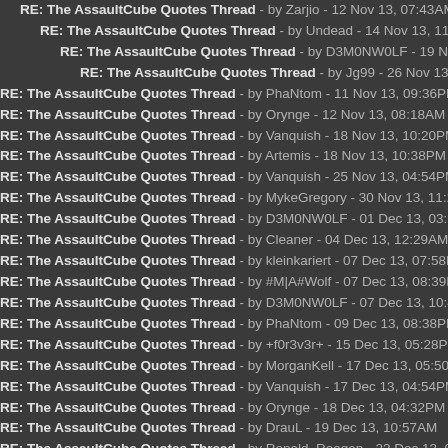RE: The AssaultCube Quotes Thread - by Zarjio - 12 Nov 13, 07:43AM
RE: The AssaultCube Quotes Thread - by Undead - 14 Nov 13, 11:14PM
RE: The AssaultCube Quotes Thread - by D3M0NW0LF - 19 Nov 13, 0
RE: The AssaultCube Quotes Thread - by Jg99 - 26 Nov 13, 02:24AM
RE: The AssaultCube Quotes Thread - by PhaNtom - 11 Nov 13, 09:36PM
RE: The AssaultCube Quotes Thread - by Orynge - 12 Nov 13, 08:18AM
RE: The AssaultCube Quotes Thread - by Vanquish - 18 Nov 13, 10:20PM
RE: The AssaultCube Quotes Thread - by Artemis - 18 Nov 13, 10:38PM
RE: The AssaultCube Quotes Thread - by Vanquish - 25 Nov 13, 04:54PM
RE: The AssaultCube Quotes Thread - by MykeGregory - 30 Nov 13, 11:28AM
RE: The AssaultCube Quotes Thread - by D3M0NW0LF - 01 Dec 13, 03:11PM
RE: The AssaultCube Quotes Thread - by Cleaner - 04 Dec 13, 12:29AM
RE: The AssaultCube Quotes Thread - by kleinkariert - 07 Dec 13, 07:58PM
RE: The AssaultCube Quotes Thread - by #M|A#Wolf - 07 Dec 13, 08:39PM
RE: The AssaultCube Quotes Thread - by D3M0NW0LF - 07 Dec 13, 10:48PM
RE: The AssaultCube Quotes Thread - by PhaNtom - 09 Dec 13, 08:38PM
RE: The AssaultCube Quotes Thread - by +f0r3v3r+ - 15 Dec 13, 05:28PM
RE: The AssaultCube Quotes Thread - by MorganKell - 17 Dec 13, 05:50AM
RE: The AssaultCube Quotes Thread - by Vanquish - 17 Dec 13, 04:54PM
RE: The AssaultCube Quotes Thread - by Orynge - 18 Dec 13, 04:32PM
RE: The AssaultCube Quotes Thread - by DrauL - 19 Dec 13, 10:57AM
RE: The AssaultCube Quotes Thread - by Ronald_Reagan - 22 Dec 13, 06:34AM
RE: The AssaultCube Quotes Thread - by DeafieGamer - 22 Dec 13, 08:04PM
RE: The AssaultCube Quotes Thread - by vonunov - 22 Dec 13, 08:41PM
RE: The AssaultCube Quotes Thread - by D3M0NW0LF - 23 Dec 13, 09:0